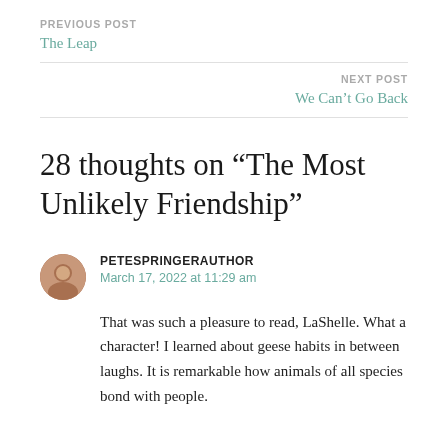PREVIOUS POST
The Leap
NEXT POST
We Can't Go Back
28 thoughts on “The Most Unlikely Friendship”
PETESPRINGERAUTHOR
March 17, 2022 at 11:29 am
That was such a pleasure to read, LaShelle. What a character! I learned about geese habits in between laughs. It is remarkable how animals of all species bond with people.